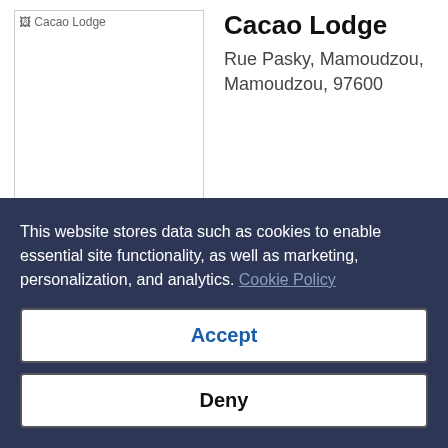[Figure (photo): Placeholder image for Cacao Lodge]
Cacao Lodge
Rue Pasky, Mamoudzou, Mamoudzou, 97600
Show details
This website stores data such as cookies to enable essential site functionality, as well as marketing, personalization, and analytics. Cookie Policy
Accept
Deny